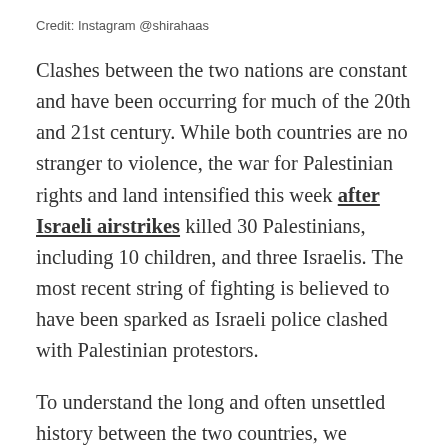Credit: Instagram @shirahaas
Clashes between the two nations are constant and have been occurring for much of the 20th and 21st century. While both countries are no stranger to violence, the war for Palestinian rights and land intensified this week after Israeli airstrikes killed 30 Palestinians, including 10 children, and three Israelis. The most recent string of fighting is believed to have been sparked as Israeli police clashed with Palestinian protestors.
To understand the long and often unsettled history between the two countries, we suggest watching this video for important context.